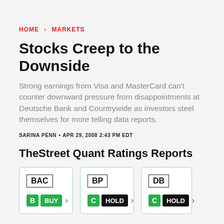HOME > MARKETS
Stocks Creep to the Downside
Strong earnings from Visa and MasterCard can't counter downward pressure from disappointments at Deutsche Bank and Countrywide as investors steel themselves for more telling data reports.
SARINA PENN • APR 29, 2008 2:43 PM EDT
TheStreet Quant Ratings Reports
[Figure (infographic): Three stock rating cards: BAC with B/BUY (green), BP with C/HOLD (black), DB with C/HOLD (black), each with a right arrow and teal border.]